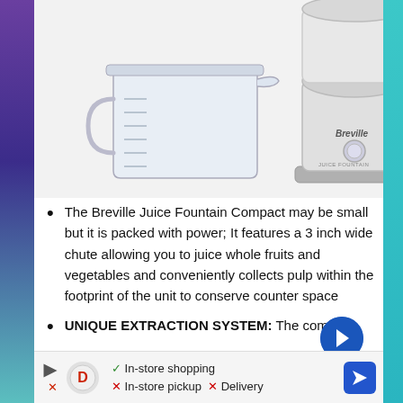[Figure (photo): Breville Juice Fountain Compact juicer with a glass measuring jug/pitcher beside it, silver/white appliance on white background]
The Breville Juice Fountain Compact may be small but it is packed with power; It features a 3 inch wide chute allowing you to juice whole fruits and vegetables and conveniently collects pulp within the footprint of the unit to conserve counter space
UNIQUE EXTRACTION SYSTEM: The compa…